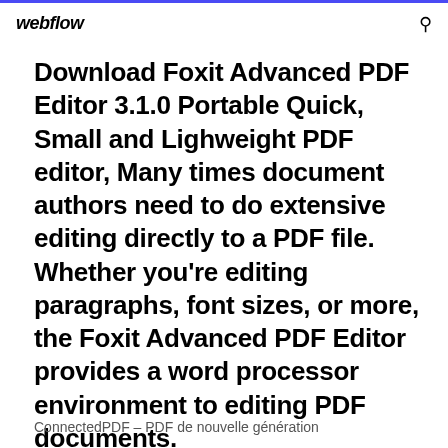webflow
Download Foxit Advanced PDF Editor 3.1.0 Portable Quick, Small and Lighweight PDF editor, Many times document authors need to do extensive editing directly to a PDF file. Whether you're editing paragraphs, font sizes, or more, the Foxit Advanced PDF Editor provides a word processor environment to editing PDF documents.
ConnectedPDF – PDF de nouvelle génération